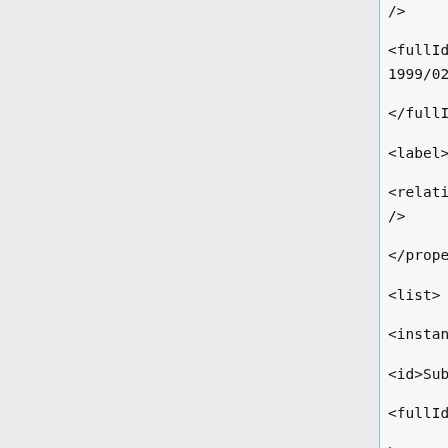/>  </fullId>http://www.w3.org/1999/02/22rdfsyntaxns#type  </fullId>  <label>rdf:type</label>  <relations />  </propertyBean>  <list>  <instanceBean>  <id>SubstrateType</id>  <fullId>  http://mged.sourceforge.net/ontologies/MGEDOntology.owl#SubstrateType  </fullId>